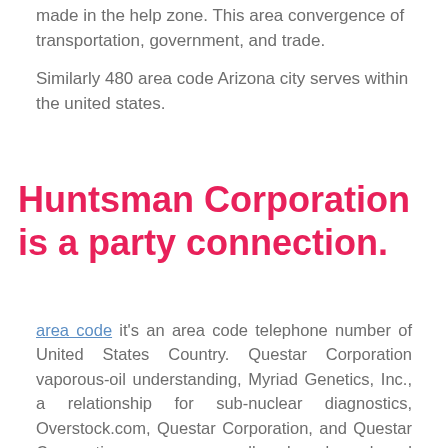made in the help zone. This area convergence of transportation, government, and trade.
Similarly 480 area code Arizona city serves within the united states.
Huntsman Corporation is a party connection.
area code it's an area code telephone number of United States Country. Questar Corporation vaporous-oil understanding, Myriad Genetics, Inc., a relationship for sub-nuclear diagnostics, Overstock.com, Questar Corporation, and Questar Corporation, are generally broad colossal affiliations made in region code . Salt Lake County's five most recognized supervisors, Health Discover Products, Inc., and University Hospital of Arizona.